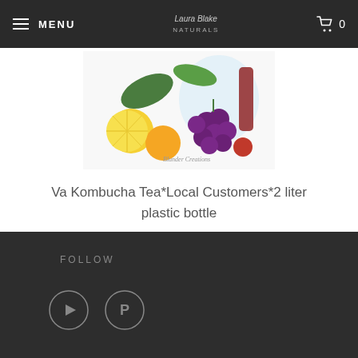MENU | Laura Blake Naturals | 0
[Figure (photo): Product image showing colorful fruits including grapes, citrus, and other fruits with water splash background]
Va Kombucha Tea*Local Customers*2 liter plastic bottle
$15.00
FOLLOW
[Figure (other): YouTube and Pinterest social media icon circles]